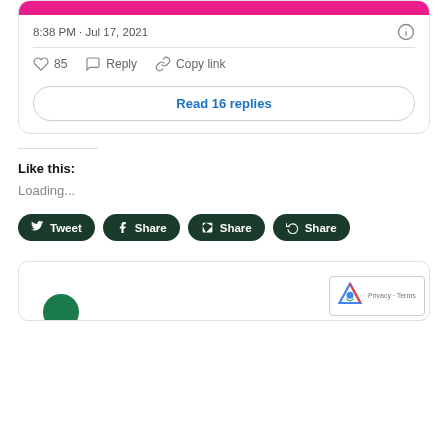[Figure (screenshot): Pink bar at top of tweet card]
8:38 PM · Jul 17, 2021
85  Reply  Copy link
Read 16 replies
Like this:
Loading...
Tweet  Share  Share  Share
[Figure (screenshot): Bottom card with reCAPTCHA badge showing Privacy · Terms]